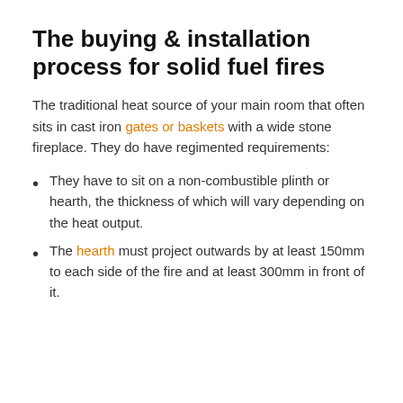The buying & installation process for solid fuel fires
The traditional heat source of your main room that often sits in cast iron gates or baskets with a wide stone fireplace. They do have regimented requirements:
They have to sit on a non-combustible plinth or hearth, the thickness of which will vary depending on the heat output.
The hearth must project outwards by at least 150mm to each side of the fire and at least 300mm in front of it.